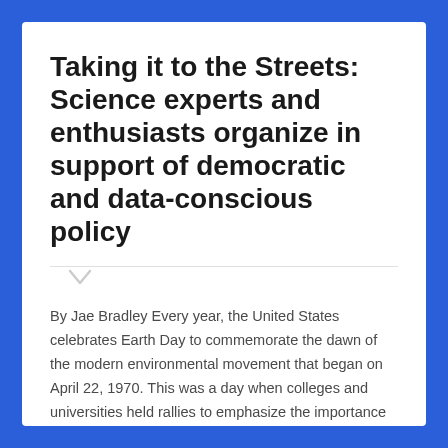Taking it to the Streets: Science experts and enthusiasts organize in support of democratic and data-conscious policy
By Jae Bradley Every year, the United States celebrates Earth Day to commemorate the dawn of the modern environmental movement that began on April 22, 1970. This was a day when colleges and universities held rallies to emphasize the importance of environmentally-conscious industry and recreation. This year, concerned citizens plan to gather for a march…
Continue Reading →